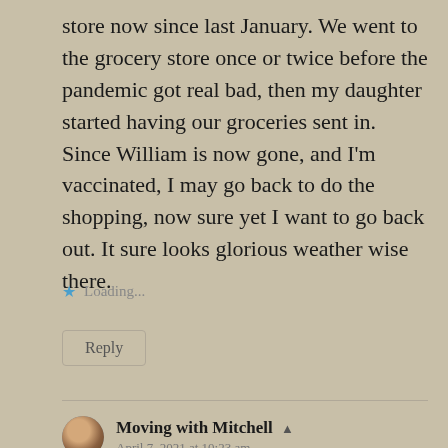store now since last January. We went to the grocery store once or twice before the pandemic got real bad, then my daughter started having our groceries sent in. Since William is now gone, and I'm vaccinated, I may go back to do the shopping, now sure yet I want to go back out. It sure looks glorious weather wise there.
Loading...
Reply
Moving with Mitchell
April 7, 2021 at 10:23 am